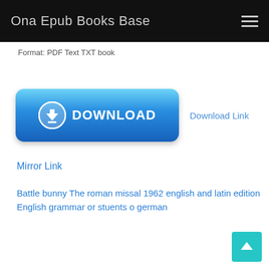Ona Epub Books Base
Format: PDF Text TXT book
[Figure (other): Blue download button with downward arrow icon and DOWNLOAD text, followed by 'Download Link' text to the right]
Mirror Link
Battle bunny The roman missal 1962 english and latin edition English grammar or stuents o german